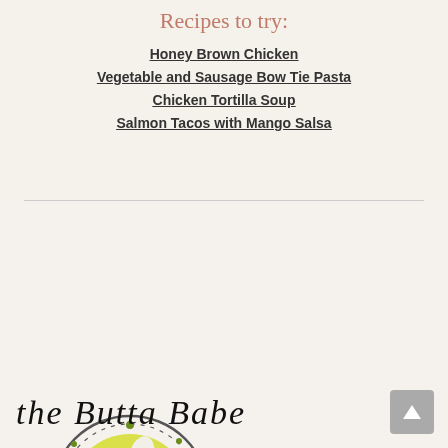Recipes to try:
Honey Brown Chicken
Vegetable and Sausage Bow Tie Pasta
Chicken Tortilla Soup
Salmon Tacos with Mango Salsa
[Figure (logo): The Butta Babe logo: a circular plate with yellow center and fork and spoon illustration, with cursive text 'the Butta Babe' below]